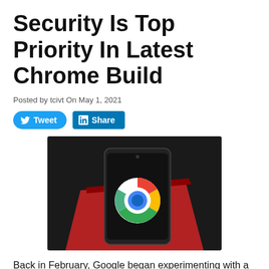Security Is Top Priority In Latest Chrome Build
Posted by tcivt On May 1, 2021
[Figure (other): Tweet and LinkedIn Share social media buttons]
[Figure (photo): A smartphone displaying the Google Chrome logo resting on a red book against a dark background]
Back in February, Google began experimenting with a new feature that defaulted all URLs to use "https:" rather